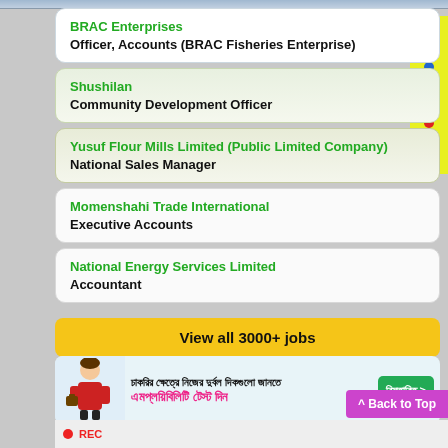BRAC Enterprises — Officer, Accounts (BRAC Fisheries Enterprise)
Shushilan — Community Development Officer
Yusuf Flour Mills Limited (Public Limited Company) — National Sales Manager
Momenshahi Trade International — Executive Accounts
National Energy Services Limited — Accountant
View all 3000+ jobs
[Figure (infographic): Promotional banner in Bengali for employability test with illustration of a person in business attire holding a briefcase]
Back to Top
REC